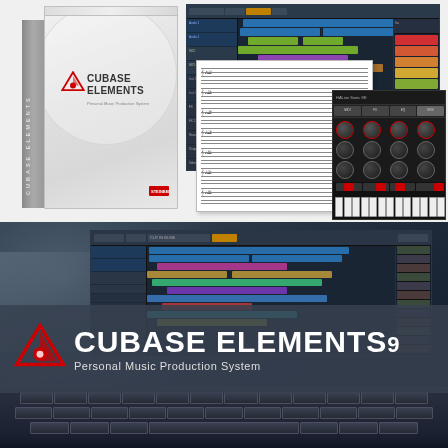[Figure (photo): Top half: Cubase Elements software product box on white background (left) with Steinberg logo and 'CUBASE ELEMENTS' text, alongside DAW interface screenshots showing audio tracks, MIDI piano roll, music notation score, and virtual synthesizer instrument panel.]
[Figure (photo): Bottom half: Person's hands on laptop keyboard with Cubase Elements 9 DAW interface visible on screen, overlaid with semi-transparent branding panel showing Steinberg logo, 'CUBASE ELEMENTS 9' in large white bold text, and 'Personal Music Production System' tagline.]